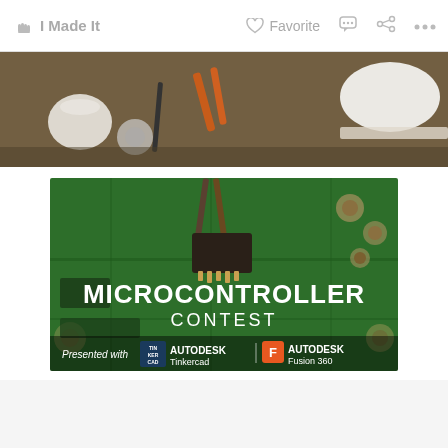✋ I Made It   ♡ Favorite   💬   ⟨   ...
[Figure (photo): Top portion of a photo showing a wooden workbench with tools including pliers, screwdrivers, tape, and papers — a maker/DIY workshop scene]
[Figure (photo): Microcontroller Contest banner: close-up photo of a green PCB circuit board with tweezers holding an IC chip, overlaid with text 'MICROCONTROLLER CONTEST' and 'Presented with AUTODESK Tinkercad | F AUTODESK Fusion 360']